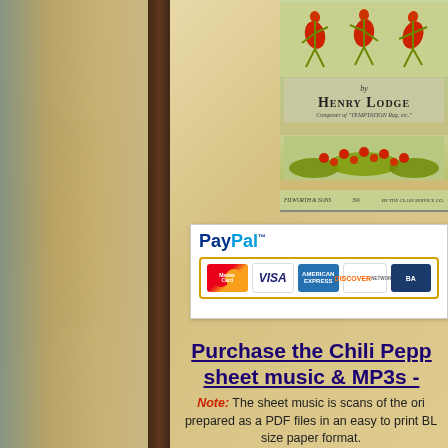[Figure (illustration): Decorative left panel with muted green, gold and brown tones resembling an aged book cover background]
[Figure (illustration): Sheet music cover image top right: dancing chili pepper figures at top in red, text 'by Henry Lodge Composer of TEMPTATION Rag etc', plant/flower decoration, publisher line at bottom reading 'FILWORTH & SONS' and other text]
[Figure (logo): PayPal payment button with MasterCard, VISA, American Express, Discover, and BA card logos]
Purchase the Chili Pepp sheet music & MP3s -
Note: The sheet music is scans of the original, prepared as a PDF files in an easy to print BL size paper format.